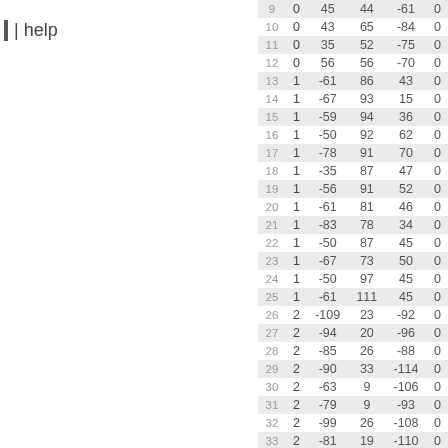| help
| 9 | 0 | 45 | 44 | -61 | 0 |
| 10 | 0 | 43 | 65 | -84 | 0 |
| 11 | 0 | 35 | 52 | -75 | 0 |
| 12 | 0 | 56 | 56 | -70 | 0 |
| 13 | 1 | -61 | 86 | 43 | 0 |
| 14 | 1 | -67 | 93 | 15 | 0 |
| 15 | 1 | -59 | 94 | 36 | 0 |
| 16 | 1 | -50 | 92 | 62 | 0 |
| 17 | 1 | -78 | 91 | 70 | 0 |
| 18 | 1 | -35 | 87 | 47 | 0 |
| 19 | 1 | -56 | 91 | 52 | 0 |
| 20 | 1 | -61 | 81 | 46 | 0 |
| 21 | 1 | -83 | 78 | 34 | 0 |
| 22 | 1 | -50 | 87 | 45 | 0 |
| 23 | 1 | -67 | 73 | 50 | 0 |
| 24 | 1 | -50 | 97 | 45 | 0 |
| 25 | 1 | -61 | 111 | 45 | 0 |
| 26 | 2 | -109 | 23 | -92 | 0 |
| 27 | 2 | -94 | 20 | -96 | 0 |
| 28 | 2 | -85 | 26 | -88 | 0 |
| 29 | 2 | -90 | 33 | -114 | 0 |
| 30 | 2 | -63 | 9 | -106 | 0 |
| 31 | 2 | -79 | 9 | -93 | 0 |
| 32 | 2 | -99 | 26 | -108 | 0 |
| 33 | 2 | -81 | 19 | -110 | 0 |
| 34 | 2 | -108 | 21 | -108 | 0 |
| 35 | 2 | -92 | 27 | -106 | 0 |
| 36 | 2 | -88 | 2 | -106 | 0 |
| 37 | 2 | ... | 15 | -100 | 0 |